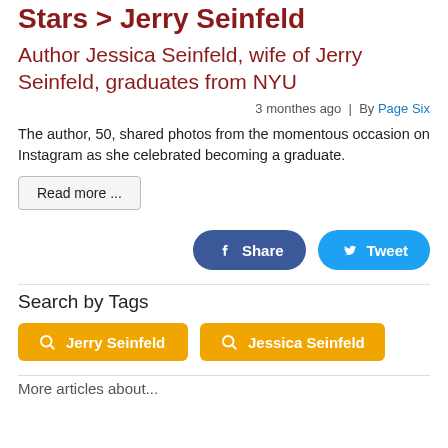Stars > Jerry Seinfeld
Author Jessica Seinfeld, wife of Jerry Seinfeld, graduates from NYU
3 monthes ago  |  By Page Six
The author, 50, shared photos from the momentous occasion on Instagram as she celebrated becoming a graduate.
Read more ...
Share  Tweet
Search by Tags
Jerry Seinfeld
Jessica Seinfeld
More articles about...